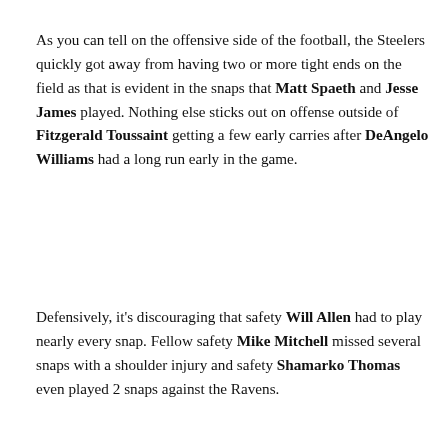As you can tell on the offensive side of the football, the Steelers quickly got away from having two or more tight ends on the field as that is evident in the snaps that Matt Spaeth and Jesse James played. Nothing else sticks out on offense outside of Fitzgerald Toussaint getting a few early carries after DeAngelo Williams had a long run early in the game.
Defensively, it's discouraging that safety Will Allen had to play nearly every snap. Fellow safety Mike Mitchell missed several snaps with a shoulder injury and safety Shamarko Thomas even played 2 snaps against the Ravens.
OUR LATEST VIDEOS
[Figure (other): Video thumbnail with dark top bar and light gray body area with partial play icon visible at bottom]